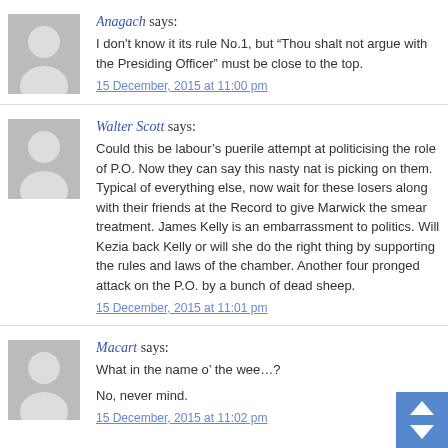Anagach says:
I don't know it its rule No.1, but “Thou shalt not argue with the Presiding Officer” must be close to the top.
15 December, 2015 at 11:00 pm
Walter Scott says:
Could this be labour’s puerile attempt at politicising the role of P.O. Now they can say this nasty nat is picking on them. Typical of everything else, now wait for these losers along with their friends at the Record to give Marwick the smear treatment. James Kelly is an embarrassment to politics. Will Kezia back Kelly or will she do the right thing by supporting the rules and laws of the chamber. Another four pronged attack on the P.O. by a bunch of dead sheep.
15 December, 2015 at 11:01 pm
Macart says:
What in the name o’ the wee…?
No, never mind.
15 December, 2015 at 11:02 pm